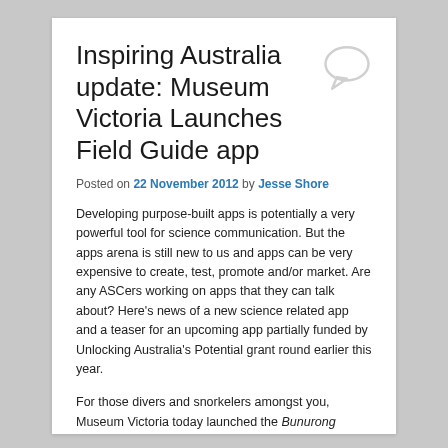Inspiring Australia update: Museum Victoria Launches Field Guide app
Posted on 22 November 2012 by Jesse Shore
Developing purpose-built apps is potentially a very powerful tool for science communication. But the apps arena is still new to us and apps can be very expensive to create, test, promote and/or market. Are any ASCers working on apps that they can talk about? Here's news of a new science related app and a teaser for an upcoming app partially funded by Unlocking Australia's Potential grant round earlier this year.
For those divers and snorkelers amongst you, Museum Victoria today launched the Bunurong Marine National Park Field Guide app in conjunction with Parks Victoria.